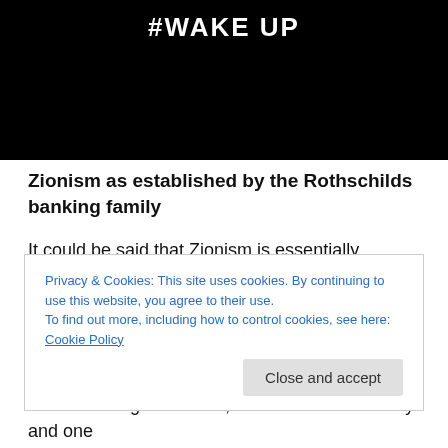[Figure (screenshot): Black background hero image with white bold text '#WAKE UP' centered at top]
Zionism as established by the Rothschilds banking family
It could be said that Zionism is essentially Rothschild Zionism. The Rothschild family is a globalist banking family who are believed and claimed to have been and are currently in charge of most of the wealth and central banks of the world and want a new world order of one government, one cashless currency and one
Privacy & Cookies: This site uses cookies. By continuing to use this website, you agree to their use.
To find out more, including how to control cookies, see here: Cookie Policy
Close and accept
order of one government, one cashless currency and one